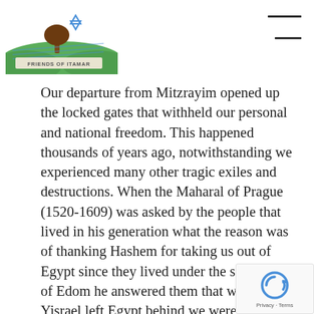[Figure (logo): Friends of Itamar logo — tree and Star of David over green hills with banner reading FRIENDS OF ITAMAR]
Our departure from Mitzrayim opened up the locked gates that withheld our personal and national freedom. This happened thousands of years ago, notwithstanding we experienced many other tragic exiles and destructions. When the Maharal of Prague (1520-1609) was asked by the people that lived in his generation what the reason was of thanking Hashem for taking us out of Egypt since they lived under the subjection of Edom he answered them that when Am Yisrael left Egypt behind we were able to